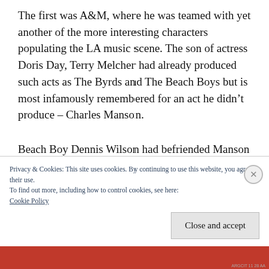The first was A&M, where he was teamed with yet another of the more interesting characters populating the LA music scene. The son of actress Doris Day, Terry Melcher had already produced such acts as The Byrds and The Beach Boys but is most infamously remembered for an act he didn't produce – Charles Manson.

Beach Boy Dennis Wilson had befriended Manson who, amongst other interests, was an aspiring songwriter and introduced him to
Privacy & Cookies: This site uses cookies. By continuing to use this website, you agree to their use.
To find out more, including how to control cookies, see here:
Cookie Policy
Close and accept